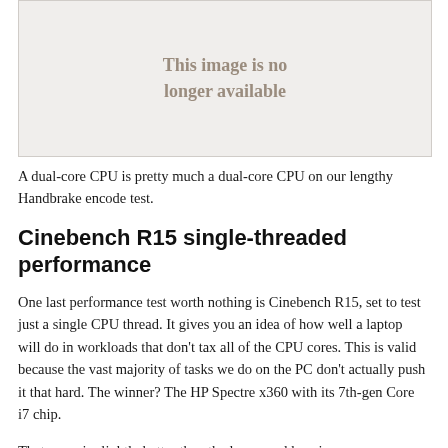[Figure (illustration): Image placeholder showing text 'This image is no longer available' with a cartoon illustration of a person on the right side]
A dual-core CPU is pretty much a dual-core CPU on our lengthy Handbrake encode test.
Cinebench R15 single-threaded performance
One last performance test worth nothing is Cinebench R15, set to test just a single CPU thread. It gives you an idea of how well a laptop will do in workloads that don't tax all of the CPU cores. This is valid because the vast majority of tasks we do on the PC don't actually push it that hard. The winner? The HP Spectre x360 with its 7th-gen Core i7 chip.
That score is slightly better than the larger and heavier